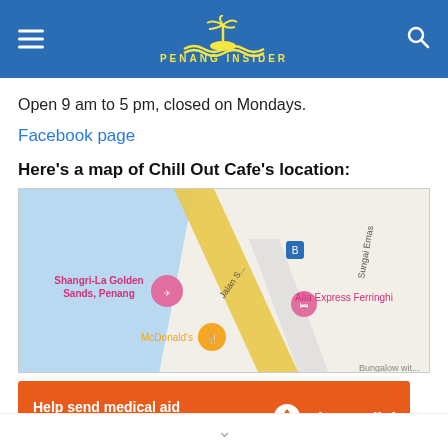PENANG INSIDER
Open 9 am to 5 pm, closed on Mondays.
Facebook page
Here’s a map of Chill Out Cafe’s location:
[Figure (map): Google Maps screenshot showing the area around Shangri-La Golden Sands, Penang, with landmarks including McDonald's, Alia Express Ferringhi, and a bus stop icon. Roads visible include Jalan S... and Sungai Emas.]
[Figure (other): Advertisement banner: 'Help send medical aid to Ukraine >>' with Direct Relief logo on orange background.]